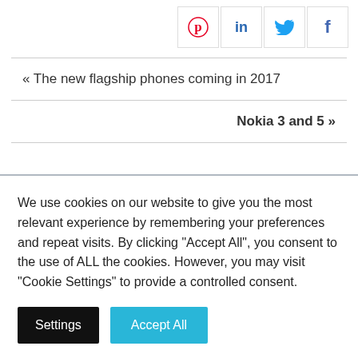[Figure (other): Social sharing buttons: Pinterest (red), LinkedIn (blue), Twitter (blue), Facebook (blue)]
« The new flagship phones coming in 2017
Nokia 3 and 5 »
We use cookies on our website to give you the most relevant experience by remembering your preferences and repeat visits. By clicking "Accept All", you consent to the use of ALL the cookies. However, you may visit "Cookie Settings" to provide a controlled consent.
Settings  Accept All